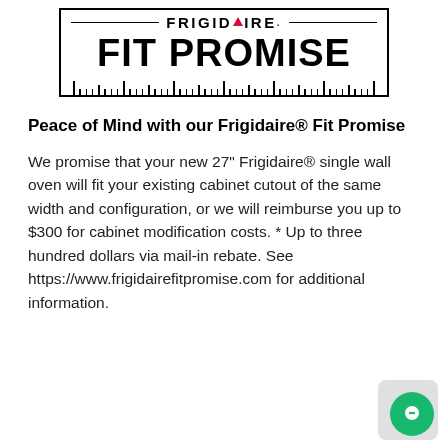[Figure (logo): Frigidaire Fit Promise logo: a rectangular bordered box with ruler tick marks along the bottom, the word FRIGIDAIRE at the top with a red triangle accent, and FIT PROMISE in large bold text below.]
Peace of Mind with our Frigidaire® Fit Promise
We promise that your new 27" Frigidaire® single wall oven will fit your existing cabinet cutout of the same width and configuration, or we will reimburse you up to $300 for cabinet modification costs. * Up to three hundred dollars via mail-in rebate. See https://www.frigidairefitpromise.com for additional information.